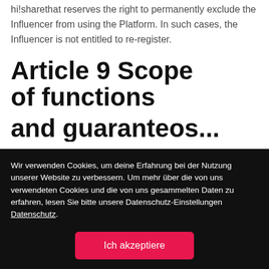hi!sharethat reserves the right to permanently exclude the Influencer from using the Platform. In such cases, the Influencer is not entitled to re-register.
Article 9 Scope of functions and guarante...
Wir verwenden Cookies, um deine Erfahrung bei der Nutzung unserer Website zu verbessern. Um mehr über die von uns verwendeten Cookies und die von uns gesammelten Daten zu erfahren, lesen Sie bitte unsere Datenschutz-Einstellungen Datenschutz.